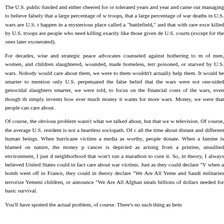The U.S. public funded and either cheered for or tolerated years and years and came out managing to believe falsely that a large percentage of war troops, that a large percentage of war deaths in U.S. wars are U.S. t happen in a mysterious place called a "battlefield," and that with rare exce killed by U.S. troops are people who need killing exactly like those given de U.S. courts (except for the ones later exonerated).
For decades, wise and strategic peace advocates counseled against bothering to m of men, women, and children slaughtered, wounded, made homeless, terr poisoned, or starved by U.S. wars. Nobody would care about them, we were to them wouldn't actually help them. It would be smarter to mention only U.S. perpetuated the false belief that the wars were not one-sided genocidal slaughters smarter, we were told, to focus on the financial costs of the wars, even though th simply invents how ever much money it wants for more wars. Money, we were that people can care about.
Of course, the obvious problem wasn't what we talked about, but that we w television. Of course, the average U.S. resident is not a heartless sociopath. Of c all the time about distant and different human beings. When hurricane victims a media as worthy, people donate. When a famine is blamed on nature, the money p cancer is depicted as arising from a pristine, unsullied environment, I just d neighborhood that won't run a marathon to cure it. So, in theory, I always believe United States could in fact care about war victims. Just as they could declare "V when a bomb went off in France, they could in theory declare "We Are All Yeme and Saudi militaries terrorize Yemeni children, or announce "We Are All Afghan steals billions of dollars needed for basic survival.
You'll have spotted the actual problem, of course. There's no such thing as bein